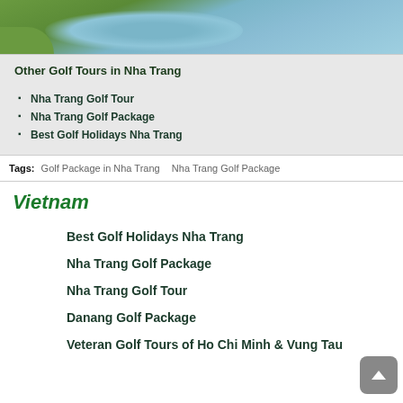[Figure (photo): Golf course with a water hazard/pond and green grass, partial view from top]
Other Golf Tours in Nha Trang
Nha Trang Golf Tour
Nha Trang Golf Package
Best Golf Holidays Nha Trang
Tags: Golf Package in Nha Trang   Nha Trang Golf Package
Vietnam
Best Golf Holidays Nha Trang
Nha Trang Golf Package
Nha Trang Golf Tour
Danang Golf Package
Veteran Golf Tours of Ho Chi Minh & Vung Tau